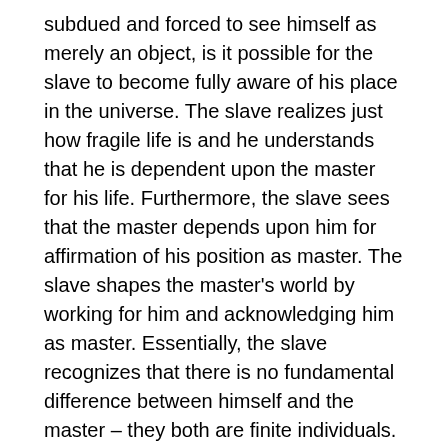subdued and forced to see himself as merely an object, is it possible for the slave to become fully aware of his place in the universe. The slave realizes just how fragile life is and he understands that he is dependent upon the master for his life. Furthermore, the slave sees that the master depends upon him for affirmation of his position as master. The slave shapes the master's world by working for him and acknowledging him as master. Essentially, the slave recognizes that there is no fundamental difference between himself and the master – they both are finite individuals. The master-slave relationship is now the exact opposite of what the master intended – although the master controls the slave physically, he cannot control the slave's spirit or sense of dignity. Through his enslavement, the slave has established his dignity and validated his life by becoming fully aware of his place in the world. In contrast, the master cannot establish his dignity or validate his life outside his role as